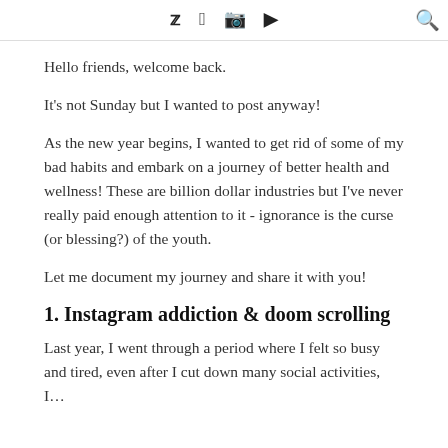Twitter Facebook Instagram YouTube [search]
Hello friends, welcome back.
It's not Sunday but I wanted to post anyway!
As the new year begins, I wanted to get rid of some of my bad habits and embark on a journey of better health and wellness! These are billion dollar industries but I've never really paid enough attention to it - ignorance is the curse (or blessing?) of the youth.
Let me document my journey and share it with you!
1. Instagram addiction & doom scrolling
Last year, I went through a period where I felt so busy and tired, even after I cut down many social activities, I…